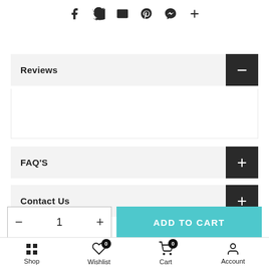[Figure (infographic): Social sharing icons row: Facebook, Twitter, Email, Pinterest, Messenger, More (+)]
Reviews
FAQ'S
Contact Us
ADD TO CART
Shop  Wishlist  Cart  Account